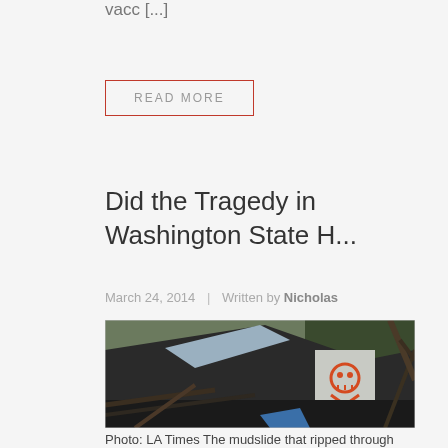vacc [...]
READ MORE
Did the Tragedy in Washington State H...
March 24, 2014 | Written by Nicholas
[Figure (photo): Photo of mudslide damage: a destroyed house with debris, a blue tarp, and graffiti of a skull and crossbones sprayed in orange/red on the wall. Surrounding trees and wreckage visible.]
Photo: LA Times The mudslide that ripped through